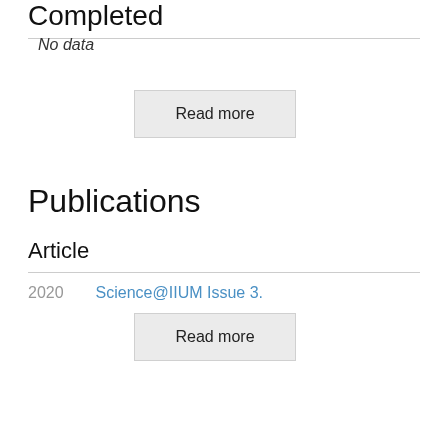Completed
No data
Read more
Publications
Article
2020   Science@IIUM Issue 3.
Read more